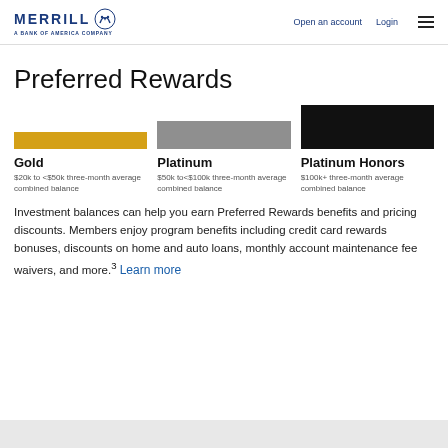Merrill — A Bank of America Company | Open an account | Login
Preferred Rewards
[Figure (infographic): Three Preferred Rewards tier cards: Gold (gold bar, $20k to <$50k three-month average combined balance), Platinum (gray bar, $50k to <$100k three-month average combined balance), Platinum Honors (black image, $100k+ three-month average combined balance)]
Investment balances can help you earn Preferred Rewards benefits and pricing discounts. Members enjoy program benefits including credit card rewards bonuses, discounts on home and auto loans, monthly account maintenance fee waivers, and more.³ Learn more